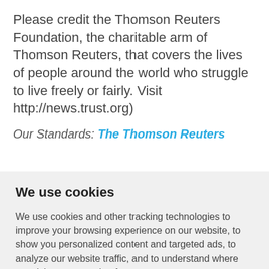Please credit the Thomson Reuters Foundation, the charitable arm of Thomson Reuters, that covers the lives of people around the world who struggle to live freely or fairly. Visit http://news.trust.org)
Our Standards: The Thomson Reuters
We use cookies
We use cookies and other tracking technologies to improve your browsing experience on our website, to show you personalized content and targeted ads, to analyze our website traffic, and to understand where our visitors are coming from.